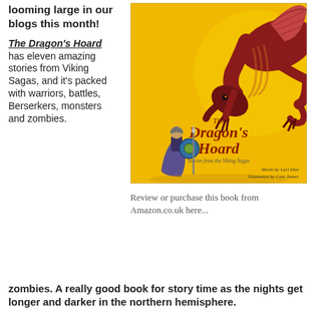looming large in our blogs this month!
The Dragon's Hoard has eleven amazing stories from Viking Sagas, and it's packed with warriors, battles, Berserkers, monsters and zombies. A really good book for story time as the nights get longer and darker in the northern hemisphere.
[Figure (illustration): Book cover of 'The Dragon's Hoard: Stories from the Viking Sagas' showing a large red dragon looming over a small Viking warrior. Yellow/gold background. Words by Lari Don, Illustrated by Cate James.]
Review or purchase this book from Amazon.co.uk here...